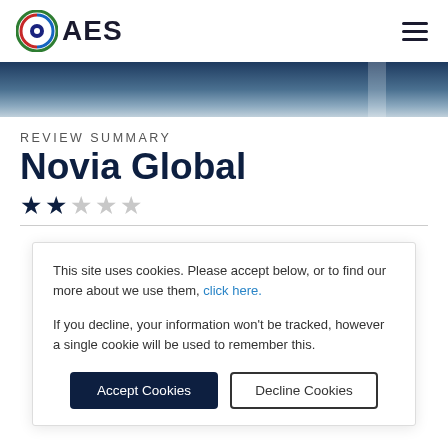[Figure (logo): AES company logo with circular icon]
REVIEW SUMMARY
Novia Global
★★☆☆☆ (2 out of 5 stars rating)
This site uses cookies. Please accept below, or to find our more about we use them, click here.
If you decline, your information won't be tracked, however a single cookie will be used to remember this.
Accept Cookies | Decline Cookies